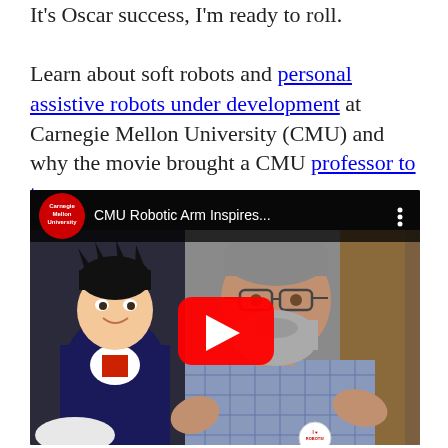It's Oscar success, I'm ready to roll. Learn about soft robots and personal assistive robots under development at Carnegie Mellon University (CMU) and why the movie brought a CMU professor to tears.
[Figure (screenshot): YouTube video thumbnail showing CMU Robotic Arm Inspires... with Carnegie Mellon University logo, a bearded man gesturing with hands and a Big Hero 6 cartoon character on the left, with YouTube play button overlay]